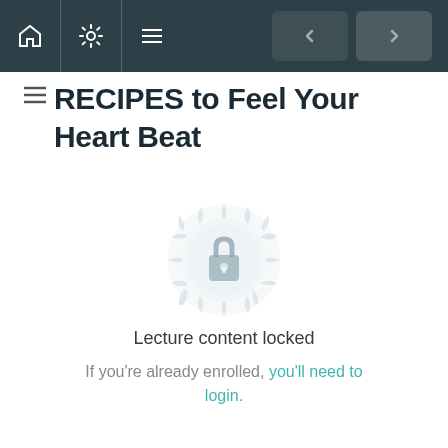Navigation bar with home, settings, menu icons and back/forward buttons
RECIPES to Feel Your Heart Beat
[Figure (illustration): A decorative mandala-style circular badge with a padlock icon in the center, rendered in light gray, indicating locked content]
Lecture content locked
If you're already enrolled, you'll need to login.